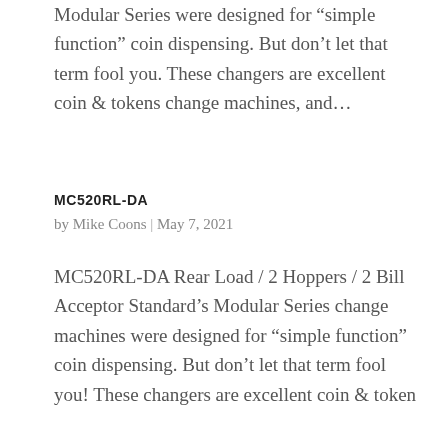Modular Series were designed for “simple function” coin dispensing. But don’t let that term fool you. These changers are excellent coin & tokens change machines, and…
MC520RL-DA
by Mike Coons | May 7, 2021
MC520RL-DA Rear Load / 2 Hoppers / 2 Bill Acceptor Standard’s Modular Series change machines were designed for “simple function” coin dispensing. But don’t let that term fool you! These changers are excellent coin & token